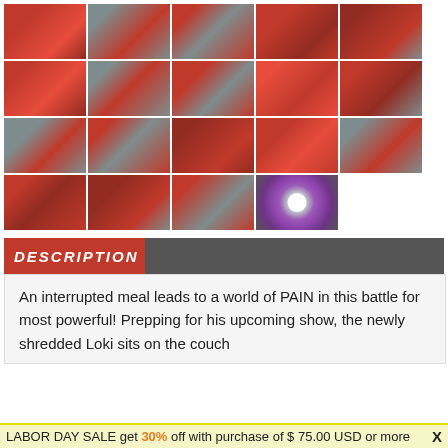[Figure (photo): Grid of 19 thumbnail images showing wrestling/bodybuilding scenes, plus a DVD disc thumbnail]
DESCRIPTION
An interrupted meal leads to a world of PAIN in this battle for most powerful! Prepping for his upcoming show, the newly shredded Loki sits on the couch
LABOR DAY SALE get 30% off with purchase of $75.00 USD or more